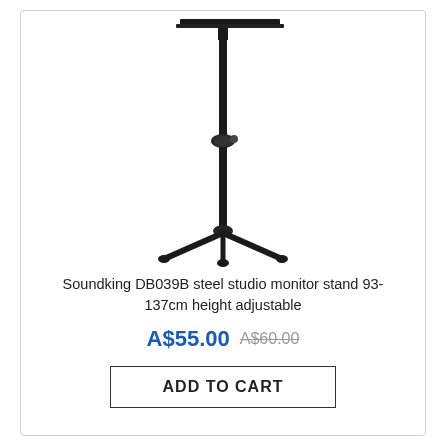[Figure (photo): Product photo of a Soundking DB039B black steel studio monitor stand with adjustable height, showing a flat rectangular top platform supported by a telescoping vertical pole with a locking knob, mounted on a triangular three-legged base.]
Soundking DB039B steel studio monitor stand 93-137cm height adjustable
A$55.00  A$60.00
ADD TO CART